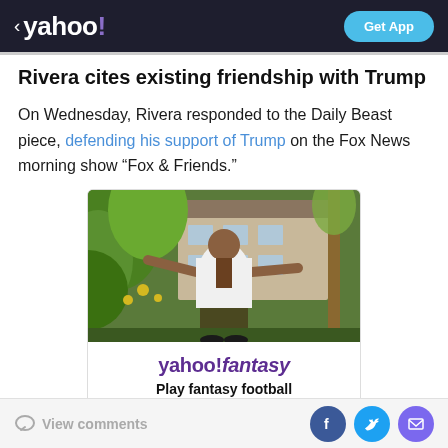yahoo! — Get App
Rivera cites existing friendship with Trump
On Wednesday, Rivera responded to the Daily Beast piece, defending his support of Trump on the Fox News morning show “Fox & Friends.”
[Figure (photo): Photo of a man in a white jacket with arms outstretched in front of tropical vegetation and a building, used as part of a Yahoo Fantasy Football advertisement]
yahoo!fantasy — Play fantasy football Get your people on the free and easy fantasy app
View comments — Facebook, Twitter, Email social share buttons